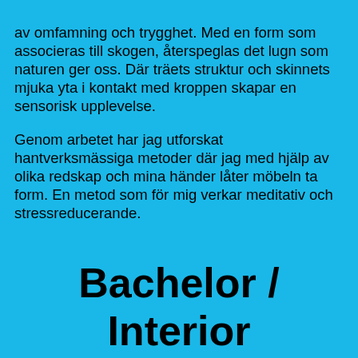av omfamning och trygghet. Med en form som associeras till skogen, återspeglas det lugn som naturen ger oss. Där träets struktur och skinnets mjuka yta i kontakt med kroppen skapar en sensorisk upplevelse.
Genom arbetet har jag utforskat hantverksmässiga metoder där jag med hjälp av olika redskap och mina händer låter möbeln ta form. En metod som för mig verkar meditativ och stressreducerande.
Bachelor / Interior Architecture and Furniture Design